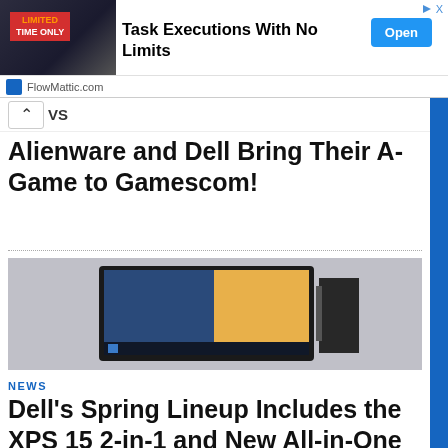[Figure (screenshot): Advertisement banner: image of person in suit holding 'LIMITED TIME ONLY' sign, text 'Task Executions With No Limits', Open button, FlowMattic.com]
vs
Alienware and Dell Bring Their A-Game to Gamescom!
[Figure (photo): Photo of a Dell/Alienware laptop or tablet display on a dark surface showing a Windows interface with colorful wallpaper]
NEWS
Dell's Spring Lineup Includes the XPS 15 2-in-1 and New All-in-One PCs